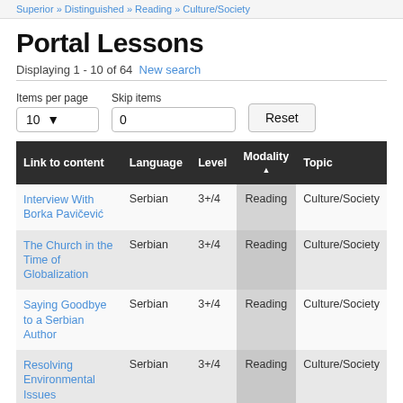Superior » Distinguished » Reading » Culture/Society
Portal Lessons
Displaying 1 - 10 of 64  New search
| Link to content | Language | Level | Modality ▲ | Topic |
| --- | --- | --- | --- | --- |
| Interview With Borka Pavičević | Serbian | 3+/4 | Reading | Culture/Society |
| The Church in the Time of Globalization | Serbian | 3+/4 | Reading | Culture/Society |
| Saying Goodbye to a Serbian Author | Serbian | 3+/4 | Reading | Culture/Society |
| Resolving Environmental Issues | Serbian | 3+/4 | Reading | Culture/Society |